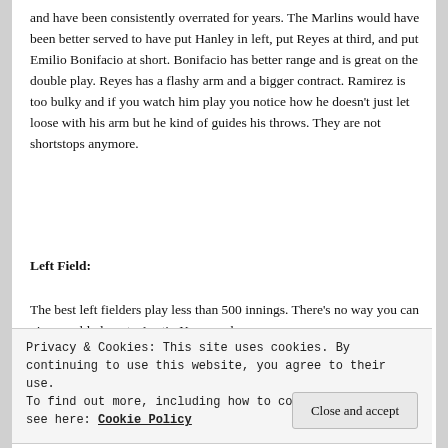and have been consistently overrated for years.  The Marlins would have been better served to have put Hanley in left, put Reyes at third, and put Emilio Bonifacio at short.  Bonifacio has better range and is great on the double play.  Reyes has a flashy arm and a bigger contract.  Ramirez is too bulky and if you watch him play you notice how he doesn't just let loose with his arm but he kind of guides his throws.  They are not shortstops anymore.
Left Field:
The best left fielders play less than 500 innings.  There's no way you can give a gold glove to Austin Kearns who
Privacy & Cookies: This site uses cookies. By continuing to use this website, you agree to their use.
To find out more, including how to control cookies, see here: Cookie Policy